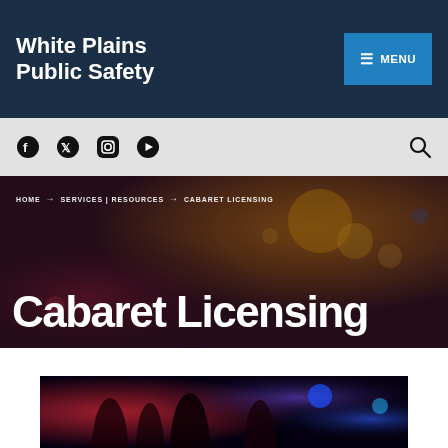White Plains Public Safety
≡ MENU
[Figure (screenshot): Social media icons: Facebook, Twitter, Instagram, YouTube and a search icon]
HOME → SERVICES | RESOURCES → CABARET LICENSING
Cabaret Licensing
[Figure (photo): People dancing in a nightclub with colorful stage lighting and smoke effects]